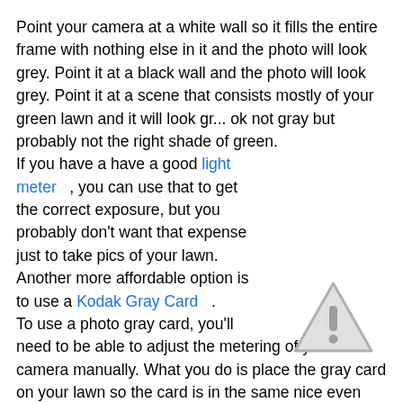Point your camera at a white wall so it fills the entire frame with nothing else in it and the photo will look grey. Point it at a black wall and the photo will look grey. Point it at a scene that consists mostly of your green lawn and it will look gr... ok not gray but probably not the right shade of green. If you have a have a good light meter , you can use that to get the correct exposure, but you probably don't want that expense just to take pics of your lawn. Another more affordable option is to use a Kodak Gray Card . To use a photo gray card, you'll need to be able to adjust the metering of your camera manually. What you do is place the gray card on your lawn so the card is in the same nice even light that the lawn is, then you zoom in so only the card is in the frame and see what the camera says the aperture and shutter speed is for the correct exposure. Turn off automatic exposure and set your camera to those settings. Then step back frame your photo and take the shot. Your photo should look very close
[Figure (illustration): Warning triangle icon with exclamation mark, light grey color]